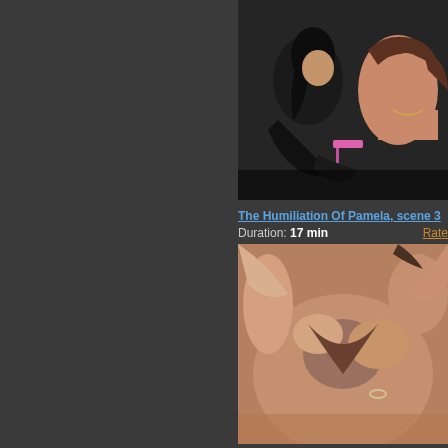[Figure (screenshot): Dark background left panel, approximately half the page width]
[Figure (photo): Thumbnail image - two women in a dark scene, one wearing black latex gloves]
The Humiliation Of Pamela, scene 3
Duration: 17 min   Rate
[Figure (photo): Thumbnail image - two people in an intimate scene, close-up warm tones]